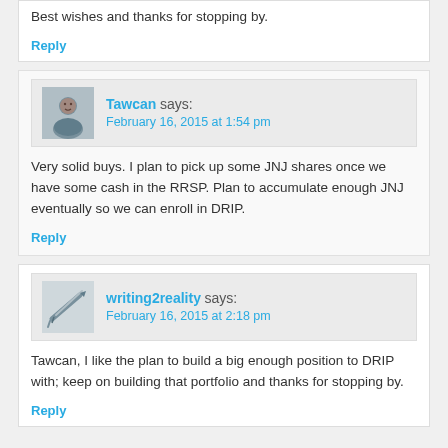Best wishes and thanks for stopping by.
Reply
Tawcan says: February 16, 2015 at 1:54 pm
Very solid buys. I plan to pick up some JNJ shares once we have some cash in the RRSP. Plan to accumulate enough JNJ eventually so we can enroll in DRIP.
Reply
writing2reality says: February 16, 2015 at 2:18 pm
Tawcan, I like the plan to build a big enough position to DRIP with; keep on building that portfolio and thanks for stopping by.
Reply